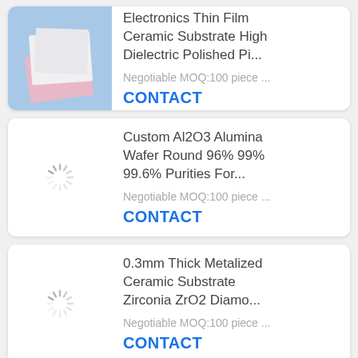[Figure (photo): Product listing card: ceramic substrate thin film wafer sheets on blue background]
Electronics Thin Film Ceramic Substrate High Dielectric Polished Pi...
Negotiable MOQ:100 piece ...
CONTACT
[Figure (photo): Loading spinner (image not loaded)]
Custom Al2O3 Alumina Wafer Round 96% 99% 99.6% Purities For...
Negotiable MOQ:100 piece ...
CONTACT
[Figure (photo): Loading spinner (image not loaded)]
0.3mm Thick Metalized Ceramic Substrate Zirconia ZrO2 Diamo...
Negotiable MOQ:100 piece ...
CONTACT